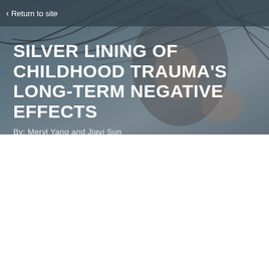[Figure (photo): Background photo of a person with wind-blown dark hair against a grey-blue background, used as hero image]
< Return to site
SILVER LINING OF CHILDHOOD TRAUMA'S LONG-TERM NEGATIVE EFFECTS
By: Meryl Yang and Jiayi Sun